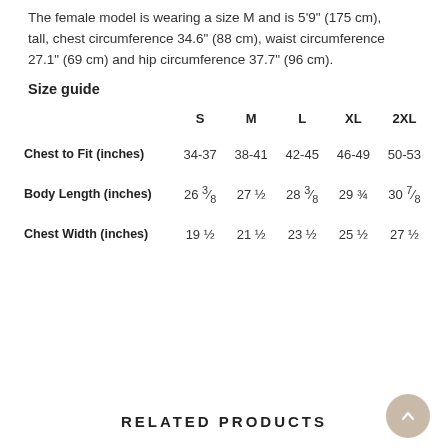The female model is wearing a size M and is 5'9" (175 cm) tall, chest circumference 34.6" (88 cm), waist circumference 27.1" (69 cm) and hip circumference 37.7" (96 cm).
Size guide
|  | S | M | L | XL | 2XL |
| --- | --- | --- | --- | --- | --- |
| Chest to Fit (inches) | 34-37 | 38-41 | 42-45 | 46-49 | 50-53 |
| Body Length (inches) | 26 ⅜ | 27 ½ | 28 ⅜ | 29 ¾ | 30 ⅞ |
| Chest Width (inches) | 19 ½ | 21 ½ | 23 ½ | 25 ½ | 27 ½ |
RELATED PRODUCTS